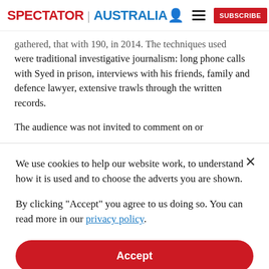SPECTATOR | AUSTRALIA  [user icon] [menu icon] SUBSCRIBE
gathered, that with 190, in 2014. The techniques used were traditional investigative journalism: long phone calls with Syed in prison, interviews with his friends, family and defence lawyer, extensive trawls through the written records.
The audience was not invited to comment on or
We use cookies to help our website work, to understand how it is used and to choose the adverts you are shown.
By clicking "Accept" you agree to us doing so. You can read more in our privacy policy.
Accept